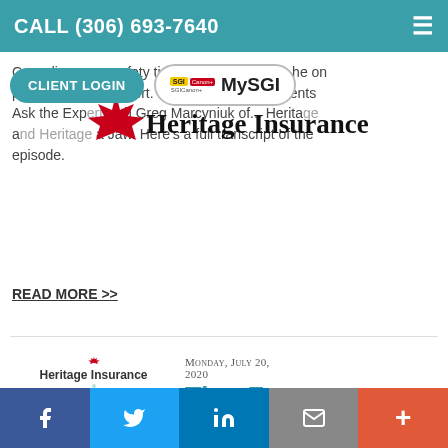CALL (306) 693-7640
[Figure (logo): CLIENT LOGIN button (teal pill) and MySGI button (outlined pill with SGI logo)]
[Figure (logo): Heritage Insurance logo with maple leaf icon and serif text Heritage Insurance]
Greg discusses safety tips for any swimming... he on property... of Ask Expert. 800 CHAB radio presents Ask the Expert with Greg Marcyniuk of Heritage... Jaw. Here's a full transcript of the episode.
READ MORE >>
[Figure (logo): Heritage Insurance logo thumbnail with maple leaf and stripes, Heritage Insurance label, and accessibility icon below]
Monday, July 20, 2020
Tips For Home Renovations
f  Twitter  in  Email  +